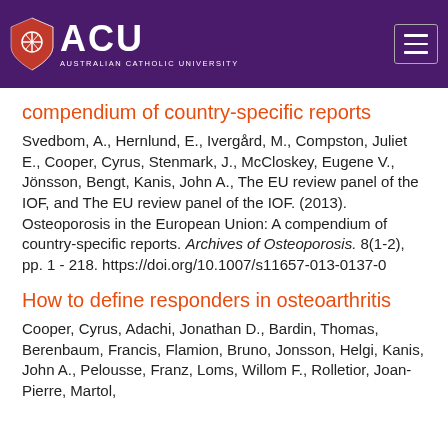[Figure (logo): Australian Catholic University (ACU) logo on purple header background with hamburger menu icon]
compendium of country-specific reports
Svedbom, A., Hernlund, E., Ivergård, M., Compston, Juliet E., Cooper, Cyrus, Stenmark, J., McCloskey, Eugene V., Jönsson, Bengt, Kanis, John A., The EU review panel of the IOF, and The EU review panel of the IOF. (2013). Osteoporosis in the European Union: A compendium of country-specific reports. Archives of Osteoporosis. 8(1-2), pp. 1 - 218. https://doi.org/10.1007/s11657-013-0137-0
How to define responders in osteoarthritis
Cooper, Cyrus, Adachi, Jonathan D., Bardin, Thomas, Berenbaum, Francis, Flamion, Bruno, Jonsson, Helgi, Kanis, John A., Pelousse, Franz, Loms, Willom F., Rolletior, Joan-Pierre, Martol,